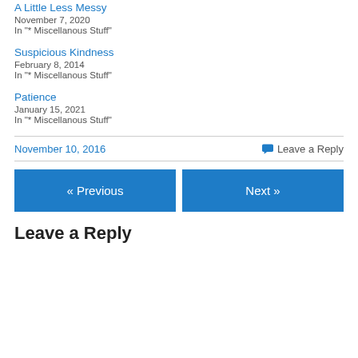A Little Less Messy
November 7, 2020
In "* Miscellanous Stuff"
Suspicious Kindness
February 8, 2014
In "* Miscellanous Stuff"
Patience
January 15, 2021
In "* Miscellanous Stuff"
November 10, 2016
Leave a Reply
« Previous
Next »
Leave a Reply